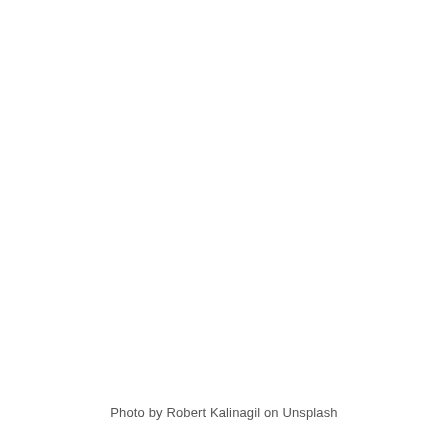[Figure (photo): Blank white photograph — the image content is not visible (overexposed or empty).]
Photo by Robert Kalinagil on Unsplash